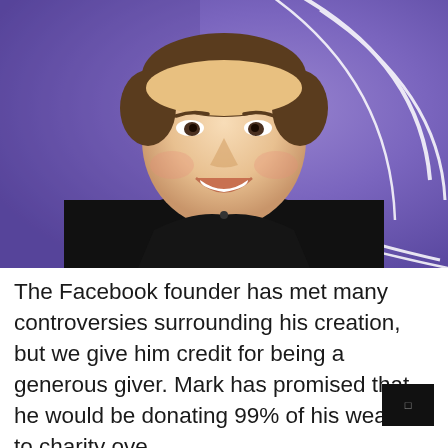[Figure (photo): A smiling man (Mark Zuckerberg) wearing a black shirt, photographed against a purple/violet background with abstract white curved lines. He is laughing and looking slightly downward.]
The Facebook founder has met many controversies surrounding his creation, but we give him credit for being a generous giver. Mark has promised that he would be donating 99% of his wealth to charity over the course of his life. Mark and his wife, back